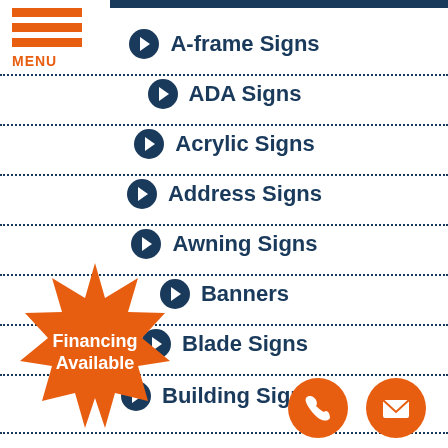[Figure (other): Navigation menu icon with three orange horizontal bars and MENU label]
A-frame Signs
ADA Signs
Acrylic Signs
Address Signs
Awning Signs
Banners
Blade Signs
Building Signs
[Figure (other): Orange starburst badge with text Financing Available]
[Figure (other): Orange circular phone button icon]
[Figure (other): Orange circular email/envelope button icon]